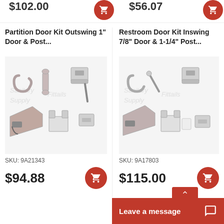$102.00
$56.07
Partition Door Kit Outswing 1" Door & Post...
[Figure (photo): Hardware kit parts for partition door outswing: hook, pull handle, brackets, latch, stop and strike components in satin nickel finish]
SKU: 9A21343
$94.88
Restroom Door Kit Inswing 7/8" Door & 1-1/4" Post...
[Figure (photo): Hardware kit parts for restroom door inswing: hook, pull handle, brackets, latch, strike plate components in chrome/satin finish]
SKU: 9A17803
$115.00
Leave a message